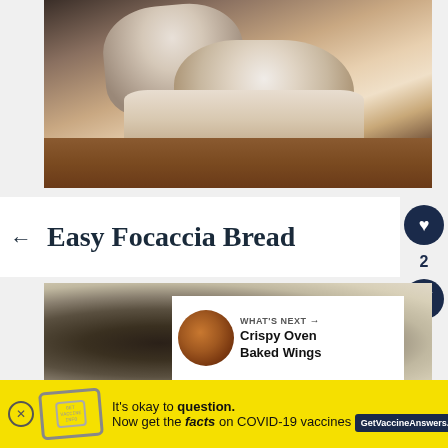[Figure (photo): Close-up photo of sliced white/focaccia bread on a wooden surface, showing the airy crumb texture, shot in low-key lighting]
← Easy Focaccia Bread
[Figure (photo): Close-up photo of oats or seeds scattered on a dark surface, blurred background]
[Figure (infographic): What's Next widget showing thumbnail of crispy oven baked wings with text 'WHAT'S NEXT → Crispy Oven Baked Wings']
[Figure (infographic): Advertisement banner: yellow background with stamp graphic, text 'It's okay to question. Now get the facts on COVID-19 vaccines' with GetVaccineAnswers.org button, close X button, and WW logo]